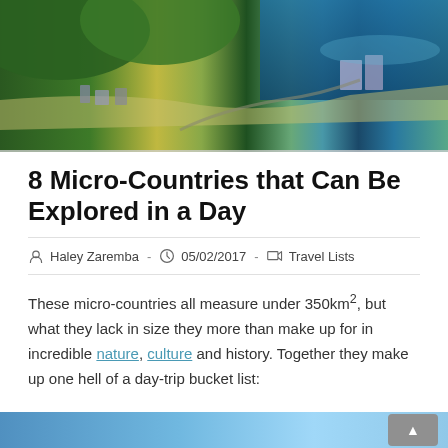[Figure (photo): Aerial view of a coastal town with green hills, buildings, beach, and blue ocean water]
8 Micro-Countries that Can Be Explored in a Day
Haley Zaremba - 05/02/2017 - Travel Lists
These micro-countries all measure under 350km², but what they lack in size they more than make up for in incredible nature, culture and history. Together they make up one hell of a day-trip bucket list:
[Figure (photo): Bottom partial image of a coastal or nature scene, blue tones]